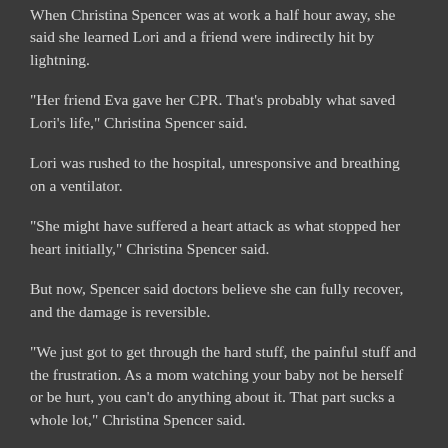When Christina Spencer was at work a half hour away, she said she learned Lori and a friend were indirectly hit by lightning.
"Her friend Eva gave her CPR. That's probably what saved Lori's life," Christina Spencer said.
Lori was rushed to the hospital, unresponsive and breathing on a ventilator.
"She might have suffered a heart attack as what stopped her heart initially," Christina Spencer said.
But now, Spencer said doctors believe she can fully recover, and the damage is reversible.
"We just got to get through the hard stuff, the painful stuff and the frustration. As a mom watching your baby not be herself or be hurt, you can't do anything about it. That part sucks a whole lot," Christina Spencer said.